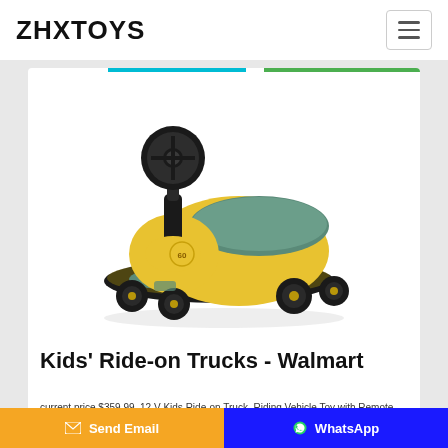ZHXTOYS
[Figure (photo): Yellow and teal kids' ride-on swing car toy with black steering wheel, black base/wheels with gold accents, and a teal padded seat. The toy car sits on a white background.]
Kids' Ride-on Trucks - Walmart
current price $359.99. 12 V Kids Ride-on Truck, Riding Vehicle Toy with Remote Control Lights, Music for Boys & White, 2021 Mercedes Ride On Kids Car w/ Remote
Send Email   WhatsApp